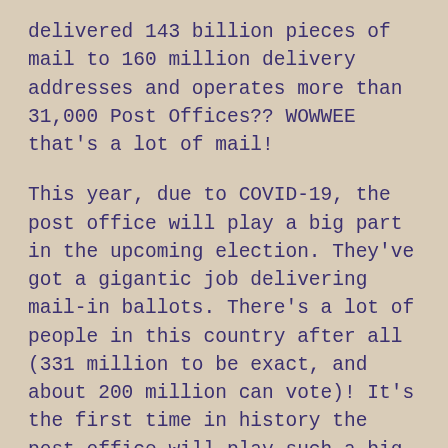delivered 143 billion pieces of mail to 160 million delivery addresses and operates more than 31,000 Post Offices?? WOWWEE that's a lot of mail!
This year, due to COVID-19, the post office will play a big part in the upcoming election. They've got a gigantic job delivering mail-in ballots. There's a lot of people in this country after all (331 million to be exact, and about 200 million can vote)! It's the first time in history the post office will play such a big role in preserving our democracy and helping people exercise their right to vote all across the country.
So, the next time you see your mail carrier, be sure to give him or her a big smile and a wave and thank them for all their hard work.